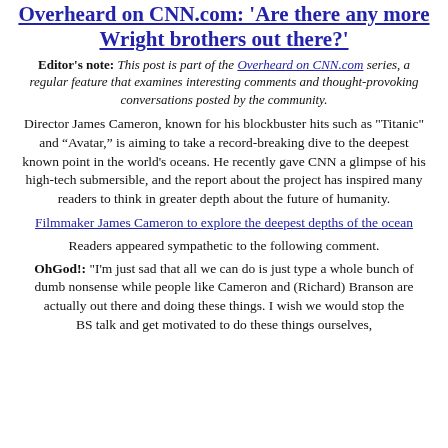Overheard on CNN.com: 'Are there any more Wright brothers out there?'
Editor's note: This post is part of the Overheard on CNN.com series, a regular feature that examines interesting comments and thought-provoking conversations posted by the community.
Director James Cameron, known for his blockbuster hits such as "Titanic" and “Avatar,” is aiming to take a record-breaking dive to the deepest known point in the world's oceans. He recently gave CNN a glimpse of his high-tech submersible, and the report about the project has inspired many readers to think in greater depth about the future of humanity.
Filmmaker James Cameron to explore the deepest depths of the ocean
Readers appeared sympathetic to the following comment.
OhGod!: "I'm just sad that all we can do is just type a whole bunch of dumb nonsense while people like Cameron and (Richard) Branson are actually out there and doing these things. I wish we would stop the BS talk and get motivated to do these things ourselves,